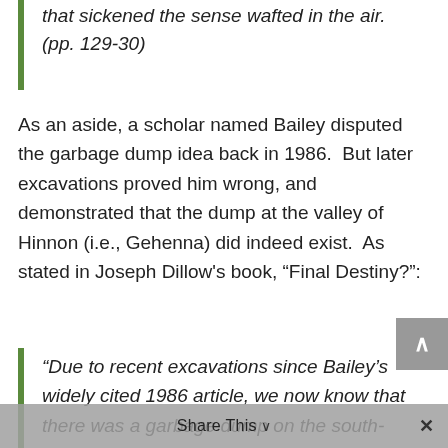that sickened the sense wafted in the air. (pp. 129-30)
As an aside, a scholar named Bailey disputed the garbage dump idea back in 1986. But later excavations proved him wrong, and demonstrated that the dump at the valley of Hinnon (i.e., Gehenna) did indeed exist. As stated in Joseph Dillow’s book, “Final Destiny?”:
“Due to recent excavations since Bailey’s widely cited 1986 article, we now know that there was a garbage dump on the south-eastern slope of the City of David.
Share This